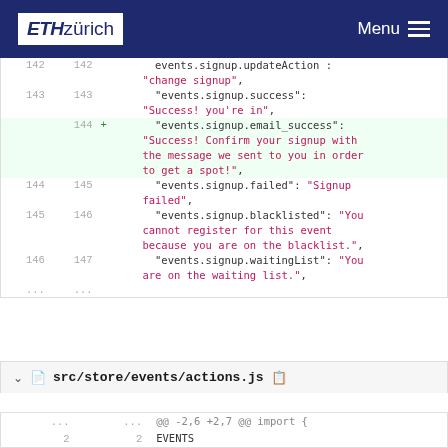ETH zürich  Menu
[Figure (screenshot): Code diff view showing additions to a translation/localization file with signup event messages, including email_success, failed, blacklisted, and waitingList strings.]
src/store/events/actions.js
@@ -2,6 +2,7 @@ import {  ...  ...  2  EVENTS